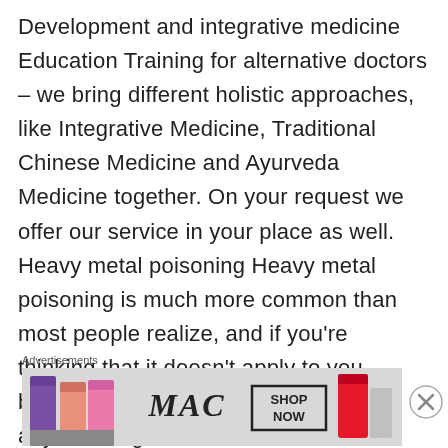Development and integrative medicine Education Training for alternative doctors – we bring different holistic approaches, like Integrative Medicine, Traditional Chinese Medicine and Ayurveda Medicine together. On your request we offer our service in your place as well. Heavy metal poisoning Heavy metal poisoning is much more common than most people realize, and if you're thinking that it doesn't apply to you because you haven't been exposed to any, think again. If
Advertisements
[Figure (other): Advertisement banner for MAC cosmetics showing lipsticks in purple, pink, and red colors with MAC logo and SHOP NOW button]